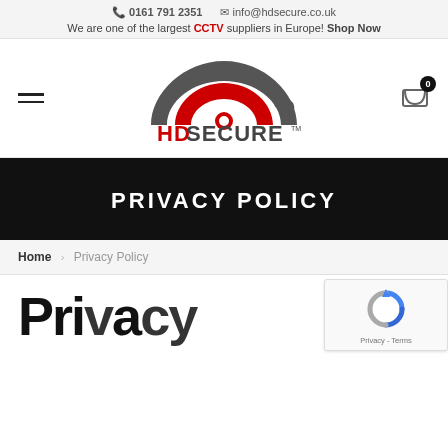0161 791 2351   info@hdsecure.co.uk   We are one of the largest CCTV suppliers in Europe! Shop Now
[Figure (logo): HD Secure logo with camera/arch graphic above text 'HDSECURE' in red and dark grey with TM mark]
PRIVACY POLICY
Home > Privacy Policy
Privacy